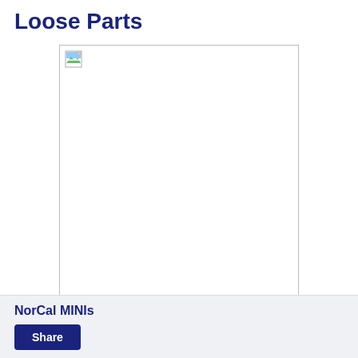Loose Parts
[Figure (photo): Broken/missing image placeholder with a small broken image icon in the top-left corner inside a bordered rectangle]
NorCal MINIs
Share